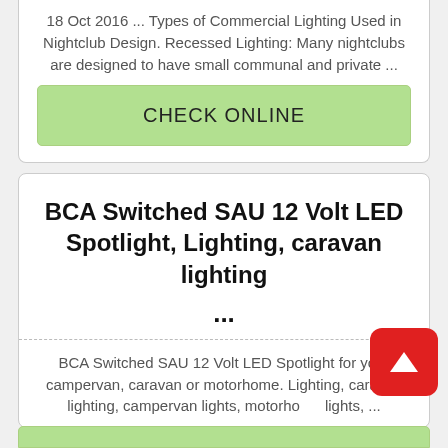18 Oct 2016 ... Types of Commercial Lighting Used in Nightclub Design. Recessed Lighting: Many nightclubs are designed to have small communal and private ...
CHECK ONLINE
BCA Switched SAU 12 Volt LED Spotlight, Lighting, caravan lighting ...
BCA Switched SAU 12 Volt LED Spotlight for your campervan, caravan or motorhome. Lighting, caravan lighting, campervan lights, motorhome lights, ...